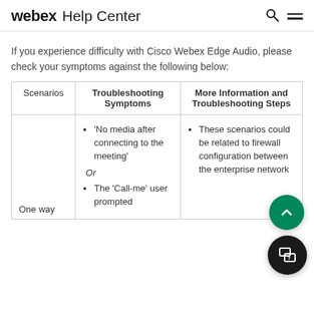webex Help Center
If you experience difficulty with Cisco Webex Edge Audio, please check your symptoms against the following below:
| Scenarios | Troubleshooting Symptoms | More Information and Troubleshooting Steps |
| --- | --- | --- |
| One way | 'No media after connecting to the meeting'
Or
The 'Call-me' user prompted | These scenarios could be related to firewall configuration between the enterprise network |